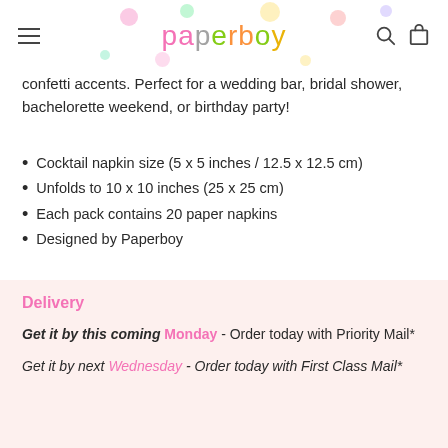paperboy
confetti accents. Perfect for a wedding bar, bridal shower, bachelorette weekend, or birthday party!
Cocktail napkin size (5 x 5 inches / 12.5 x 12.5 cm)
Unfolds to 10 x 10 inches (25 x 25 cm)
Each pack contains 20 paper napkins
Designed by Paperboy
Delivery
Get it by this coming Monday - Order today with Priority Mail*
Get it by next Wednesday - Order today with First Class Mail*